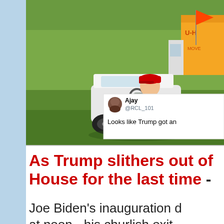[Figure (photo): Photo of a man in red cap driving a golf cart on a green golf course, with a U-Haul truck visible in the background. An orange flag is visible on the course. A Twitter/social media overlay shows a tweet from user 'Ajay @RCL_101' saying 'Looks like Trump got an']
As Trump slithers out of the White House for the last time -
Joe Biden's inauguration d... at noon - his churlish exit...